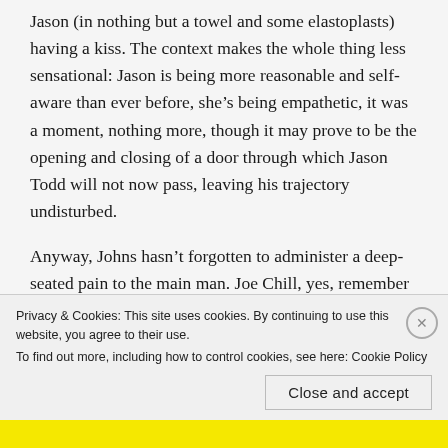Jason (in nothing but a towel and some elastoplasts) having a kiss. The context makes the whole thing less sensational: Jason is being more reasonable and self-aware than ever before, she's being empathetic, it was a moment, nothing more, though it may prove to be the opening and closing of a door through which Jason Todd will not now pass, leaving his trajectory undisturbed.
Anyway, Johns hasn't forgotten to administer a deep-seated pain to the main man. Joe Chill, yes, remember him, has cancer and weeks to live. His
Privacy & Cookies: This site uses cookies. By continuing to use this website, you agree to their use.
To find out more, including how to control cookies, see here: Cookie Policy
Close and accept